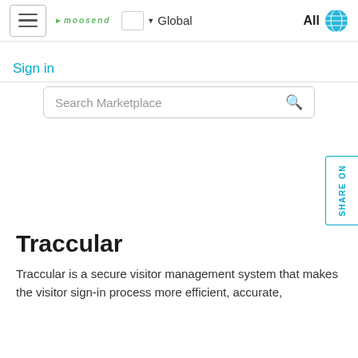[Figure (screenshot): Website navigation bar with hamburger menu, logo, region selector showing Global, and All with globe icon]
Sign in
[Figure (screenshot): Search bar with placeholder text Search Marketplace and search icon]
[Figure (other): Vertical Share On tab on the right side of the page]
Traccular
Traccular is a secure visitor management system that makes the visitor sign-in process more efficient, accurate,